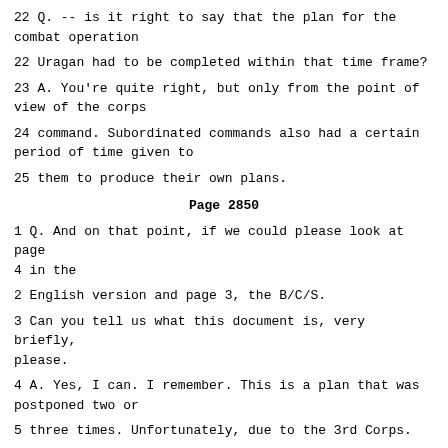22 Q. -- is it right to say that the plan for the combat operation
22 Uragan had to be completed within that time frame?
23 A. You're quite right, but only from the point of view of the corps
24 command. Subordinated commands also had a certain period of time given to
25 them to produce their own plans.
Page 2850
1 Q. And on that point, if we could please look at page 4 in the
2 English version and page 3, the B/C/S.
3 Can you tell us what this document is, very briefly, please.
4 A. Yes, I can. I remember. This is a plan that was postponed two or
5 three times. Unfortunately, due to the 3rd Corps.
6 Now, here it says: "Activities pursuant to the Uragan plan." It
7 says: "Based on the readiness -- " I would rather say